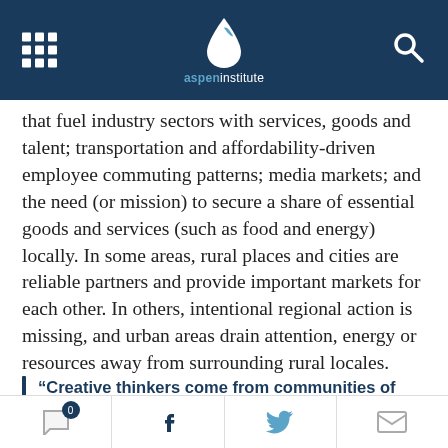Aspen Institute
that fuel industry sectors with services, goods and talent; transportation and affordability-driven employee commuting patterns; media markets; and the need (or mission) to secure a share of essential goods and services (such as food and energy) locally. In some areas, rural places and cities are reliable partners and provide important markets for each other. In others, intentional regional action is missing, and urban areas drain attention, energy or resources away from surrounding rural locales.
“Creative thinkers come from communities of different cultures and abilities—this diversity
0 | f | [twitter] | [mail]